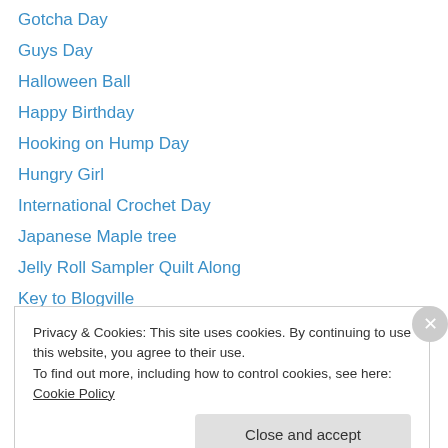Gotcha Day
Guys Day
Halloween Ball
Happy Birthday
Hooking on Hump Day
Hungry Girl
International Crochet Day
Japanese Maple tree
Jelly Roll Sampler Quilt Along
Key to Blogville
Knitter's project bags
Lake Ontario
Liebster Award
Machine Embroidery
Privacy & Cookies: This site uses cookies. By continuing to use this website, you agree to their use.
To find out more, including how to control cookies, see here: Cookie Policy
Close and accept